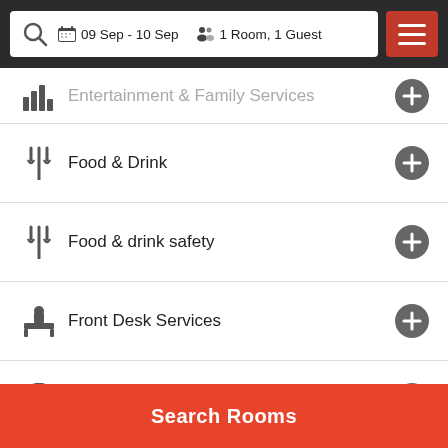09 Sep - 10 Sep  1 Room, 1 Guest
Entertainment & Family Services
Food & Drink
Food & drink safety
Front Desk Services
General
Miscellaneous
Physical distancing
Search Rooms